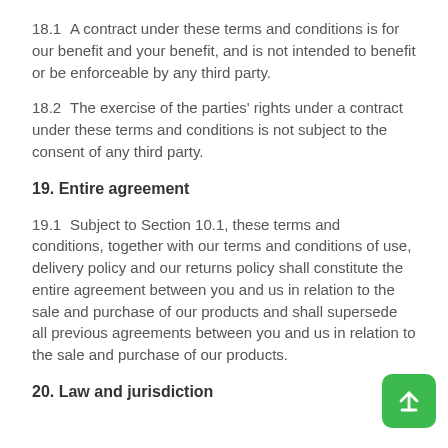18.1  A contract under these terms and conditions is for our benefit and your benefit, and is not intended to benefit or be enforceable by any third party.
18.2  The exercise of the parties' rights under a contract under these terms and conditions is not subject to the consent of any third party.
19. Entire agreement
19.1  Subject to Section 10.1, these terms and conditions, together with our terms and conditions of use, delivery policy and our returns policy shall constitute the entire agreement between you and us in relation to the sale and purchase of our products and shall supersede all previous agreements between you and us in relation to the sale and purchase of our products.
20. Law and jurisdiction